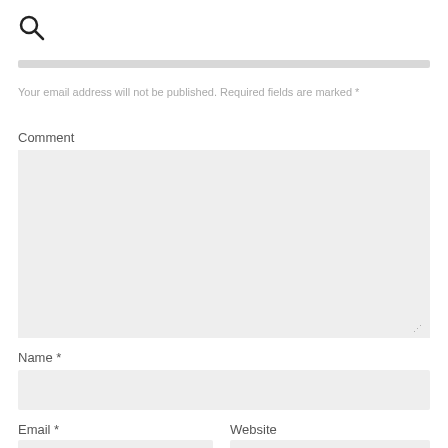[Figure (other): Search magnifying glass icon]
[Figure (other): Horizontal grey bar/divider]
Your email address will not be published. Required fields are marked *
Comment
[Figure (other): Large comment textarea input box with resize handle]
Name *
[Figure (other): Name text input field]
Email *
Website
[Figure (other): Email text input field]
[Figure (other): Website text input field]